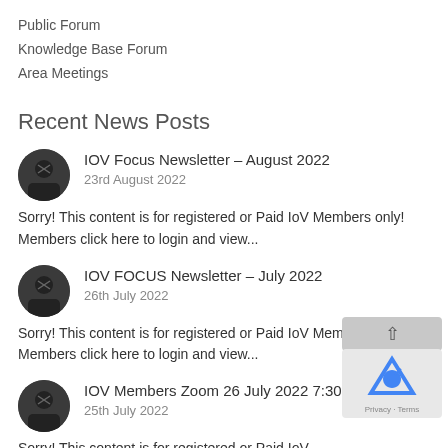Public Forum
Knowledge Base Forum
Area Meetings
Recent News Posts
IOV Focus Newsletter – August 2022
23rd August 2022
Sorry! This content is for registered or Paid IoV Members only! Members click here to login and view...
IOV FOCUS Newsletter – July 2022
26th July 2022
Sorry! This content is for registered or Paid IoV Members only! Members click here to login and view...
IOV Members Zoom 26 July 2022 7:30 pm
25th July 2022
Sorry! This content is for registered or Paid IoV Members only! M... click here to login and view...